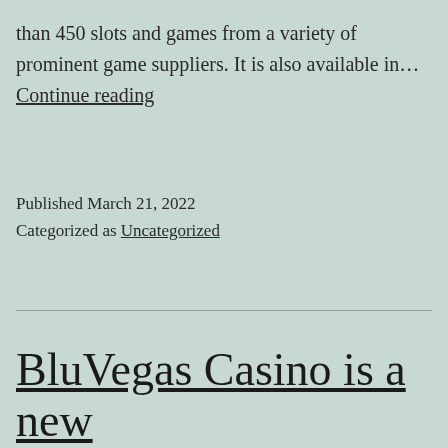than 450 slots and games from a variety of prominent game suppliers. It is also available in… Continue reading
Published March 21, 2022
Categorized as Uncategorized
BluVegas Casino is a new online casino that brings it